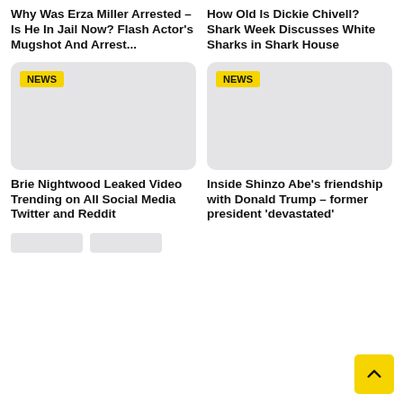Why Was Erza Miller Arrested – Is He In Jail Now? Flash Actor's Mugshot And Arrest...
How Old Is Dickie Chivell? Shark Week Discusses White Sharks in Shark House
[Figure (photo): News card placeholder image with NEWS badge]
[Figure (photo): News card placeholder image with NEWS badge]
Brie Nightwood Leaked Video Trending on All Social Media Twitter and Reddit
Inside Shinzo Abe's friendship with Donald Trump – former president 'devastated'